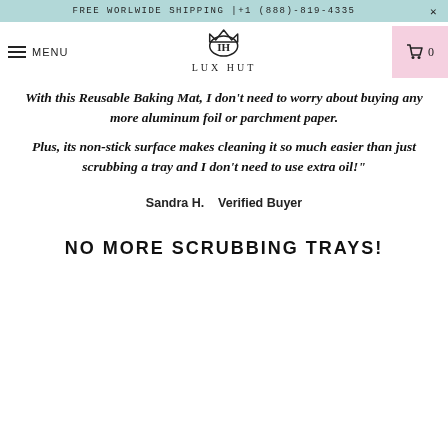FREE WORLWIDE SHIPPING |+1 (888)-819-4335
MENU | LUX HUT | 0
With this Reusable Baking Mat, I don't need to worry about buying any more aluminum foil or parchment paper. Plus, its non-stick surface makes cleaning it so much easier than just scrubbing a tray and I don't need to use extra oil!"
Sandra H.    Verified Buyer
NO MORE SCRUBBING TRAYS!